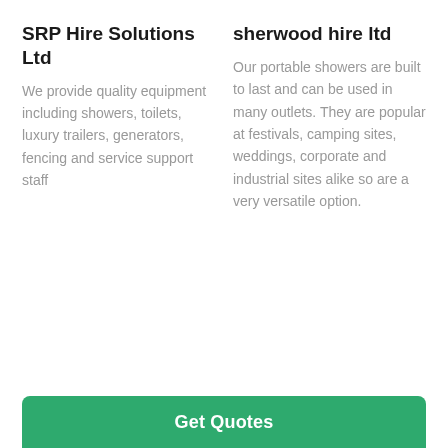SRP Hire Solutions Ltd
We provide quality equipment including showers, toilets, luxury trailers, generators, fencing and service support staff
sherwood hire ltd
Our portable showers are built to last and can be used in many outlets. They are popular at festivals, camping sites, weddings, corporate and industrial sites alike so are a very versatile option.
Get Quotes